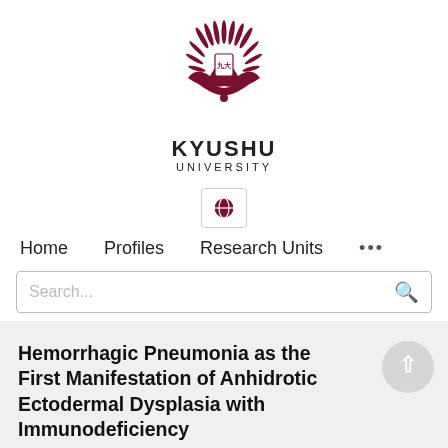[Figure (logo): Kyushu University emblem/crest — a dark red phoenix/sunburst design with a shield in the center]
KYUSHU
UNIVERSITY
[Figure (other): Globe icon button in a bordered box]
Home   Profiles   Research Units   •••
Search...
Hemorrhagic Pneumonia as the First Manifestation of Anhidrotic Ectodermal Dysplasia with Immunodeficiency